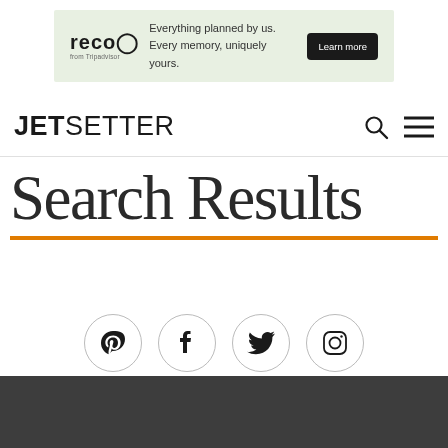[Figure (infographic): Advertisement banner for 'reco' service with green background, logo on left, tagline 'Everything planned by us. Every memory, uniquely yours.' and 'Learn more' button on right]
JETSETTER
Search Results
[Figure (infographic): Row of four social media icons in circles: Pinterest, Facebook, Twitter, Instagram]
[Figure (photo): Dark gray/charcoal colored section at the bottom of the page]